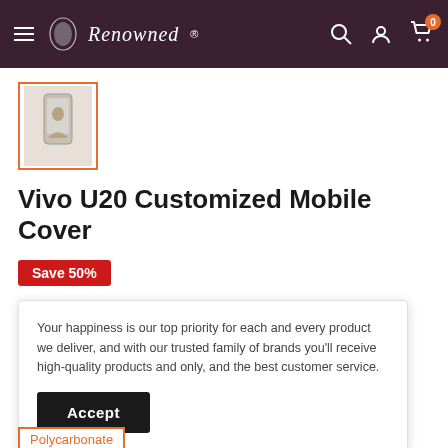Renowned — navigation header with hamburger menu, logo, search, account, and cart icons
[Figure (photo): Thumbnail image of a phone case product with orange border highlight]
Vivo U20 Customized Mobile Cover
Save 50%
Your happiness is our top priority for each and every product we deliver, and with our trusted family of brands you'll receive high-quality products and only, and the best customer service.
Accept
Polycarbonate